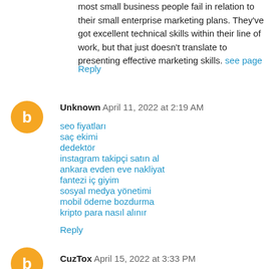most small business people fail in relation to their small enterprise marketing plans. They've got excellent technical skills within their line of work, but that just doesn't translate to presenting effective marketing skills. see page
Reply
Unknown April 11, 2022 at 2:19 AM
seo fiyatları
saç ekimi
dedektör
instagram takipçi satın al
ankara evden eve nakliyat
fantezi iç giyim
sosyal medya yönetimi
mobil ödeme bozdurma
kripto para nasıl alınır
Reply
CuzTox April 15, 2022 at 3:33 PM